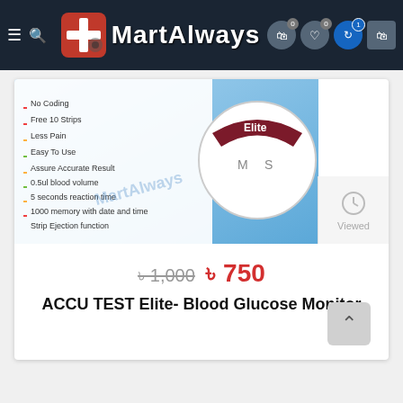[Figure (screenshot): MartAlways e-commerce website header with logo, hamburger menu, search icon, cart and wishlist icons]
[Figure (photo): ACCU TEST Elite Blood Glucose Monitor product image showing device and packaging with features listed: No Coding, Free 10 Strips, Less Pain, Easy To Use, Assure Accurate Result, 0.5ul blood volume, 5 seconds reaction time, 1000 memory with date and time, Strip Ejection function]
[Figure (other): Viewed panel with clock icon]
৳ 1,000  ৳ 750
ACCU TEST Elite- Blood Glucose Monitor